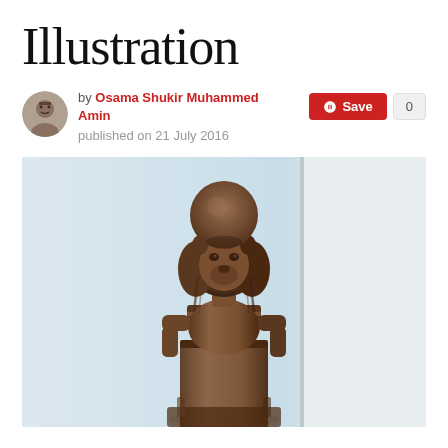Illustration
by Osama Shukir Muhammed Amin
published on 21 July 2016
[Figure (photo): Photograph of an ancient Egyptian dark bronze/stone statue of a lion-headed deity (likely Sekhmet) with a sun disc on its head, seated upright, displayed against a light blue museum background.]